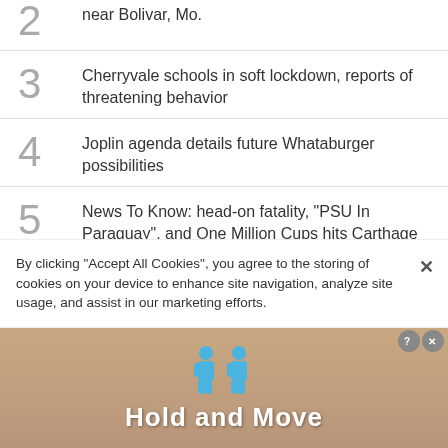2 near Bolivar, Mo.
3 Cherryvale schools in soft lockdown, reports of threatening behavior
4 Joplin agenda details future Whataburger possibilities
5 News To Know: head-on fatality, "PSU In Paraguay", and One Million Cups hits Carthage
[Figure (photo): Partial photo of a woman's face against a salmon/pink wall background, with a 'Feed My Starving' charity badge overlay]
By clicking “Accept All Cookies”, you agree to the storing of cookies on your device to enhance site navigation, analyze site usage, and assist in our marketing efforts.
[Figure (infographic): Blue figure icons above 'Hold and Move' text on a gradient brown/tan background, with close/help icons in corner]